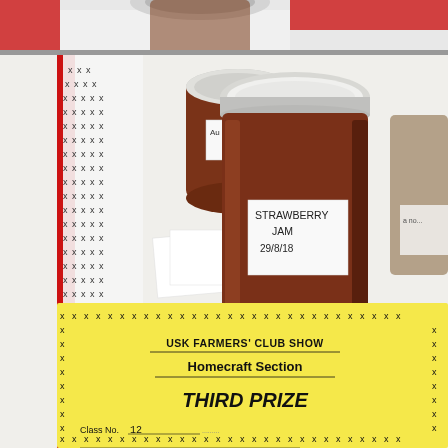[Figure (photo): Top strip showing partial view of a table with red papers/cards and a white background, cropped at the top of the page.]
[Figure (photo): A jar of strawberry jam labeled 'STRAWBERRY JAM 29/8/18' with a silver/white metal lid, sitting on a white table alongside other jars and papers. In the foreground is a yellow prize card with an X-border pattern reading 'USK FARMERS' CLUB SHOW / Homecraft Section / THIRD PRIZE / Class No. 12']